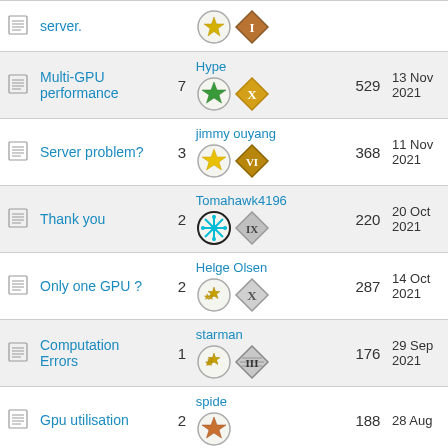|  | Topic | Replies | Last poster | Views | Date |
| --- | --- | --- | --- | --- | --- |
|  | server. |  |  |  |  |
|  | Multi-GPU performance | 7 | Hype | 529 | 13 Nov 2021 |
|  | Server problem? | 3 | jimmy ouyang | 368 | 11 Nov 2021 |
|  | Thank you | 2 | Tomahawk4196 | 220 | 20 Oct 2021 |
|  | Only one GPU ? | 2 | Helge Olsen | 287 | 14 Oct 2021 |
|  | Computation Errors | 1 | starman | 176 | 29 Sep 2021 |
|  | Gpu utilisation | 2 | spide | 188 | 28 Aug |